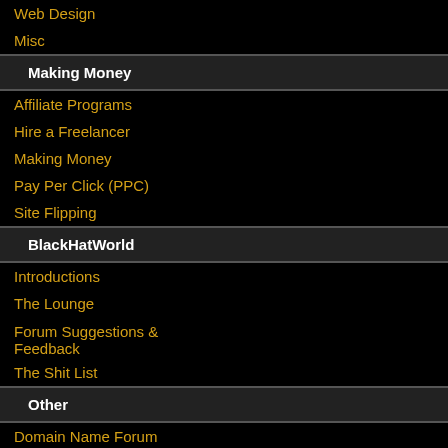Web Design
Misc
Making Money
Affiliate Programs
Hire a Freelancer
Making Money
Pay Per Click (PPC)
Site Flipping
BlackHatWorld
Introductions
The Lounge
Forum Suggestions & Feedback
The Shit List
Other
Domain Name Forum
IM Journeys
Web Hosting
[Figure (illustration): Forum avatar image with musical notes on yellow background]
Re: Ashampoo antispywa...
Well, apparently looking bad) 😊
The Following 20 Users Say
Absurtuk ,bassi.amitad ,check... ,gseo ,madam ,mindmaster ,m...
-2:9:2022 ,  02:35 PM
SRkrishnan • Gosocials Donor ★★
[Figure (illustration): Smiley face avatar - orange/yellow gradient circle with facial features]
[Figure (logo): Skype icon - blue rounded square with S]